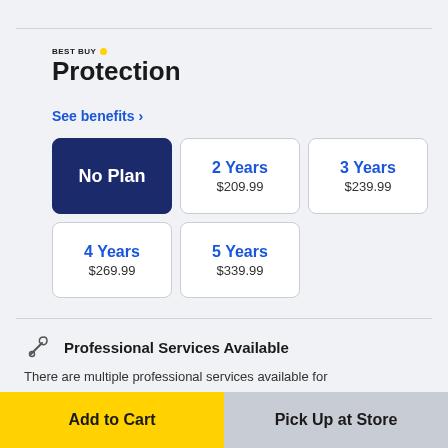BEST BUY Protection
See benefits >
| Plan | Price |
| --- | --- |
| No Plan |  |
| 2 Years | $209.99 |
| 3 Years | $239.99 |
| 4 Years | $269.99 |
| 5 Years | $339.99 |
Professional Services Available
There are multiple professional services available for
Add to Cart
Pick Up at Store